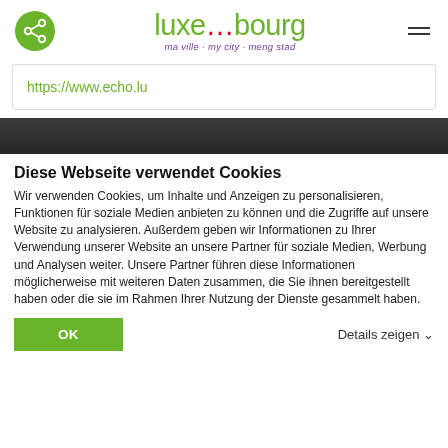luxembourg – ma ville · my city · meng stad
https://www.echo.lu
[Figure (other): Dark decorative horizontal bar]
Diese Webseite verwendet Cookies
Wir verwenden Cookies, um Inhalte und Anzeigen zu personalisieren, Funktionen für soziale Medien anbieten zu können und die Zugriffe auf unsere Website zu analysieren. Außerdem geben wir Informationen zu Ihrer Verwendung unserer Website an unsere Partner für soziale Medien, Werbung und Analysen weiter. Unsere Partner führen diese Informationen möglicherweise mit weiteren Daten zusammen, die Sie ihnen bereitgestellt haben oder die sie im Rahmen Ihrer Nutzung der Dienste gesammelt haben.
OK
Details zeigen